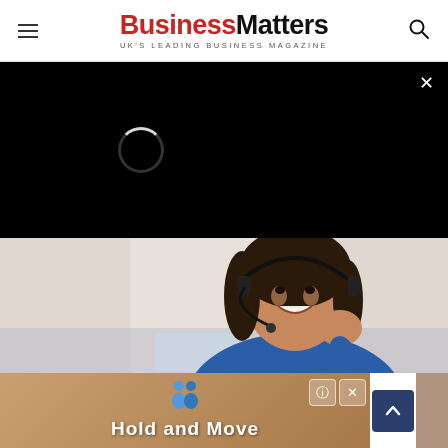Business Matters — UK'S LEADING BUSINESS MAGAZINE
[Figure (screenshot): Black video overlay panel with loading spinner and close (×) button in top-right corner]
[Figure (photo): Smiling young woman wearing a headset/microphone, customer service representative, looking at a screen]
caci Customer Service Analyst Jobs in Ashburn Apply Now
[Figure (screenshot): Advertisement banner with cartoon figures and text 'Hold and Move', with close and help buttons]